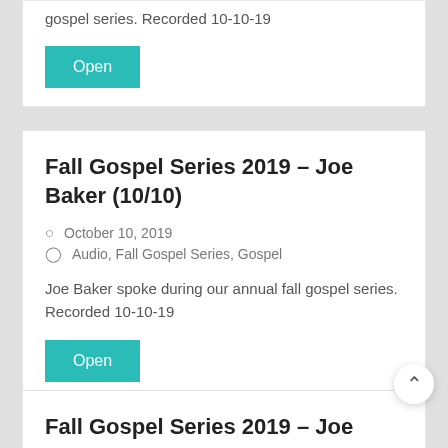gospel series. Recorded 10-10-19
Open
Fall Gospel Series 2019 – Joe Baker (10/10)
October 10, 2019
Audio, Fall Gospel Series, Gospel
Joe Baker spoke during our annual fall gospel series. Recorded 10-10-19
Open
Fall Gospel Series 2019 – Joe